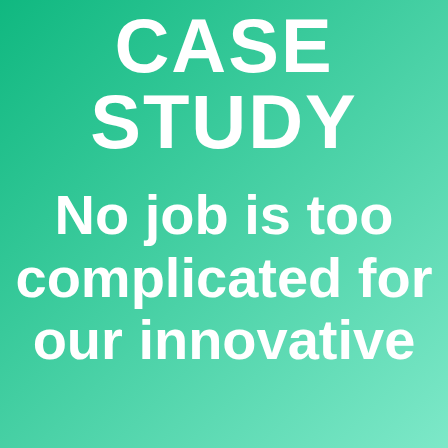CASE STUDY
No job is too complicated for our innovative